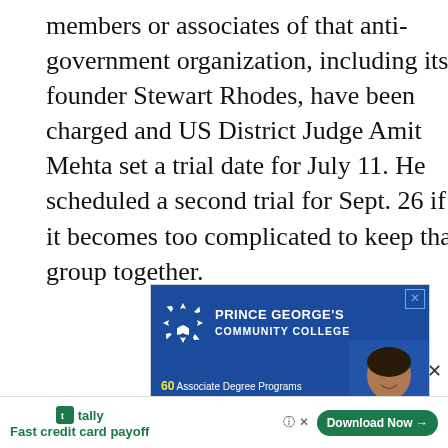members or associates of that anti-government organization, including its founder Stewart Rhodes, have been charged and US District Judge Amit Mehta set a trial date for July 11. He scheduled a second trial for Sept. 26 if it becomes too complicated to keep that group together.
[Figure (other): Advertisement for Prince George's Community College showing logo, college name, and stats: 60 Associate Degree Programs, 144 Continuing Education Programs, 32 Certificate Programs, with a photo of a smiling woman.]
[Figure (other): Tally app advertisement banner at bottom: 'Fast credit card payoff' with Download Now button.]